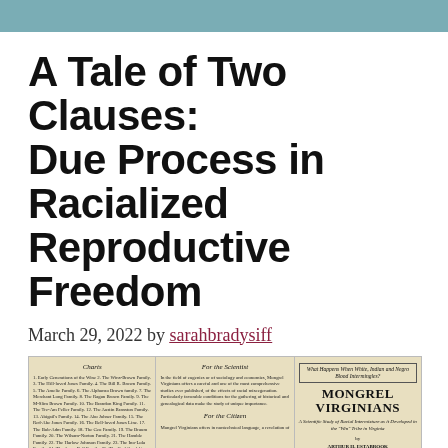A Tale of Two Clauses: Due Process in Racialized Reproductive Freedom
March 29, 2022 by sarahbradysiff
[Figure (photo): Scanned image of a book titled 'Mongrel Virginians: A Scientific Study of Racial Intermixture as it Developed in the Win Tribe in Virginia' by Arthur H. Estabrook and Ivan E. McDougle, showing the book's table of contents and promotional text columns about eugenics and racial science.]